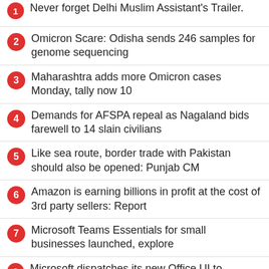1 Never forget Delhi Muslim Assistant's Trailer
2 Omicron Scare: Odisha sends 246 samples for genome sequencing
3 Maharashtra adds more Omicron cases Monday, tally now 10
4 Demands for AFSPA repeal as Nagaland bids farewell to 14 slain civilians
5 Like sea route, border trade with Pakistan should also be opened: Punjab CM
6 Amazon is earning billions in profit at the cost of 3rd party sellers: Report
7 Microsoft Teams Essentials for small businesses launched, explore
8 Microsoft dispatches its new Office UI to